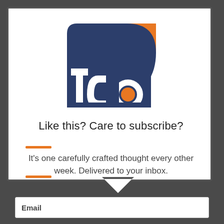[Figure (logo): TCA logo: dark navy blue square with white letters 'tca', orange dot in the 'a', and an orange square in top-right corner with a navy semicircle arc]
Like this? Care to subscribe?
It's one carefully crafted thought every other week. Delivered to your inbox.
Email